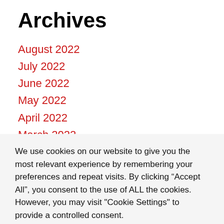Archives
August 2022
July 2022
June 2022
May 2022
April 2022
March 2022
February 2022
January 2022
December 2021
We use cookies on our website to give you the most relevant experience by remembering your preferences and repeat visits. By clicking “Accept All”, you consent to the use of ALL the cookies. However, you may visit "Cookie Settings" to provide a controlled consent.
Cookie Settings | Accept All